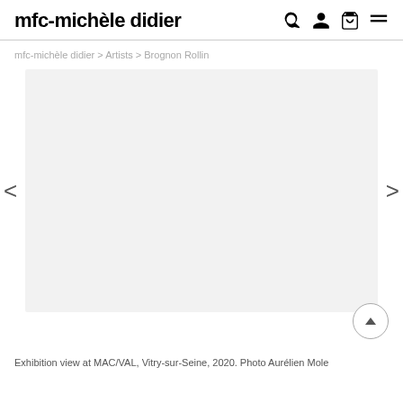mfc-michèle didier
mfc-michèle didier > Artists > Brognon Rollin
[Figure (screenshot): Gallery slideshow area showing a light gray empty image placeholder with left and right navigation arrows on either side, and a back-to-top circular button at bottom right.]
Exhibition view at MAC/VAL, Vitry-sur-Seine, 2020. Photo Aurélien Mole